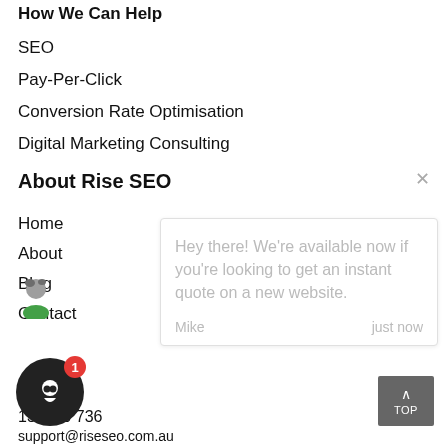How We Can Help
SEO
Pay-Per-Click
Conversion Rate Optimisation
Digital Marketing Consulting
About Rise SEO
Home
About
Blog
Contact
Hey there! We're available now if you're looking to get an instant quote on a new website.
Mike    just now
Co
13    00 736
support@riseseo.com.au